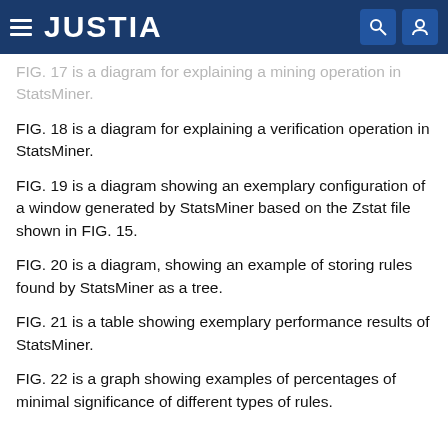JUSTIA
FIG. 17 is a diagram for explaining a mining operation in StatsMiner.
FIG. 18 is a diagram for explaining a verification operation in StatsMiner.
FIG. 19 is a diagram showing an exemplary configuration of a window generated by StatsMiner based on the Zstat file shown in FIG. 15.
FIG. 20 is a diagram, showing an example of storing rules found by StatsMiner as a tree.
FIG. 21 is a table showing exemplary performance results of StatsMiner.
FIG. 22 is a graph showing examples of percentages of minimal significance of different types of rules.